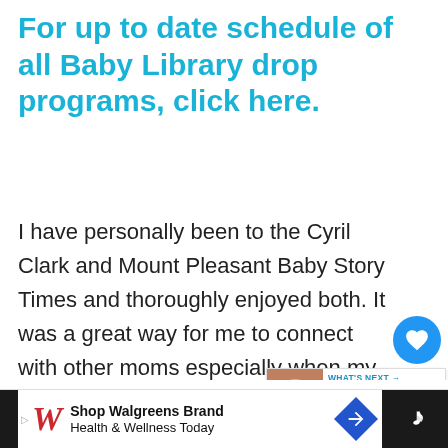For up to date schedule of all Baby Library drop programs, click here.
I have personally been to the Cyril Clark and Mount Pleasant Baby Story Times and thoroughly enjoyed both. It was a great way for me to connect with other moms especially when my daughter was really little as we went to the Mount Pleasant story time when she was just 2 m… and she made her first baby friend there